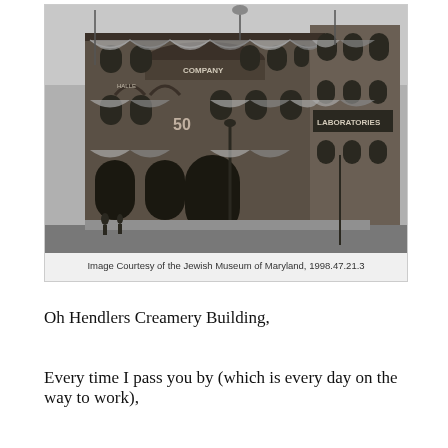[Figure (photo): Black and white photograph of the Hendlers Creamery Building, a multi-story Victorian-era brick building decorated with patriotic bunting banners. A sign reading 'LABORATORIES' is visible on the right side. A '50' marker is visible on the building facade. The street in front is visible at the bottom.]
Image Courtesy of the Jewish Museum of Maryland, 1998.47.21.3
Oh Hendlers Creamery Building,
Every time I pass you by (which is every day on the way to work),